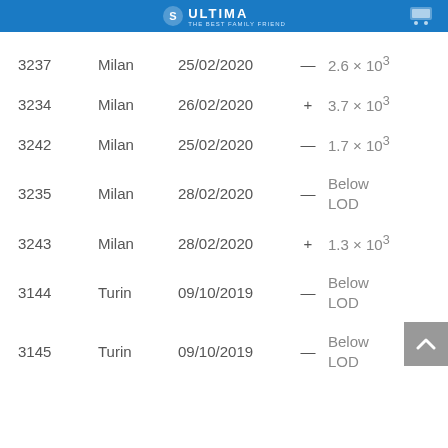ULTIMA THE BEST FAMILY FRIEND
| ID | City | Date | Sign | Value |
| --- | --- | --- | --- | --- |
| 3237 | Milan | 25/02/2020 | — | 2.6 × 10³ |
| 3234 | Milan | 26/02/2020 | + | 3.7 × 10³ |
| 3242 | Milan | 25/02/2020 | — | 1.7 × 10³ |
| 3235 | Milan | 28/02/2020 | — | Below LOD |
| 3243 | Milan | 28/02/2020 | + | 1.3 × 10³ |
| 3144 | Turin | 09/10/2019 | — | Below LOD |
| 3145 | Turin | 09/10/2019 | — | Below LOD |